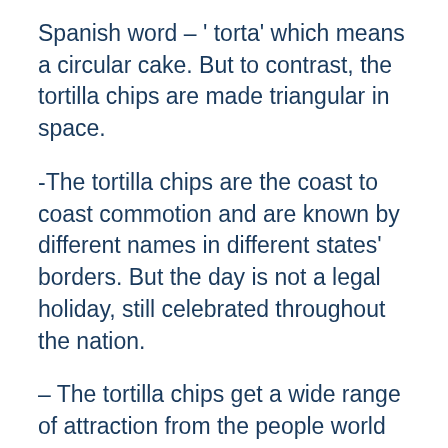Spanish word – ' torta' which means a circular cake. But to contrast, the tortilla chips are made triangular in space.
-The tortilla chips are the coast to coast commotion and are known by different names in different states' borders. But the day is not a legal holiday, still celebrated throughout the nation.
– The tortilla chips get a wide range of attraction from the people world wide but is more famous in the corners of Mexico, North America, and Texas but known with specific different names.